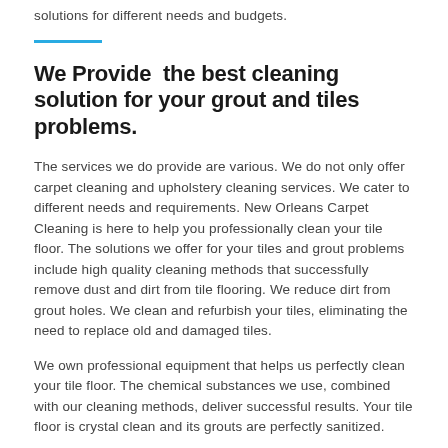solutions for different needs and budgets.
We Provide  the best cleaning solution for your grout and tiles problems.
The services we do provide are various. We do not only offer carpet cleaning and upholstery cleaning services. We cater to different needs and requirements. New Orleans Carpet Cleaning is here to help you professionally clean your tile floor. The solutions we offer for your tiles and grout problems include high quality cleaning methods that successfully remove dust and dirt from tile flooring. We reduce dirt from grout holes. We clean and refurbish your tiles, eliminating the need to replace old and damaged tiles.
We own professional equipment that helps us perfectly clean your tile floor. The chemical substances we use, combined with our cleaning methods, deliver successful results. Your tile floor is crystal clean and its grouts are perfectly sanitized.